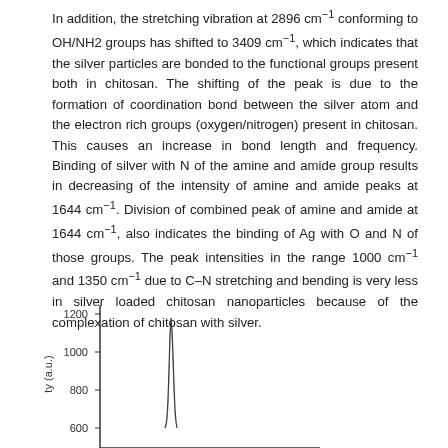In addition, the stretching vibration at 2896 cm⁻¹ conforming to OH/NH2 groups has shifted to 3409 cm⁻¹, which indicates that the silver particles are bonded to the functional groups present both in chitosan. The shifting of the peak is due to the formation of coordination bond between the silver atom and the electron rich groups (oxygen/nitrogen) present in chitosan. This causes an increase in bond length and frequency. Binding of silver with N of the amine and amide group results in decreasing of the intensity of amine and amide peaks at 1644 cm⁻¹. Division of combined peak of amine and amide at 1644 cm⁻¹, also indicates the binding of Ag with O and N of those groups. The peak intensities in the range 1000 cm⁻¹ and 1350 cm⁻¹ due to C–N stretching and bending is very less in silver loaded chitosan nanoparticles because of the complexation of chitosan with silver.
[Figure (continuous-plot): Partial spectral plot showing y-axis labeled with intensity (a.u.) values 1200, 1000, 800 visible, with a sharp peak visible in the plot area. X-axis not visible. The chart is cut off at the bottom.]